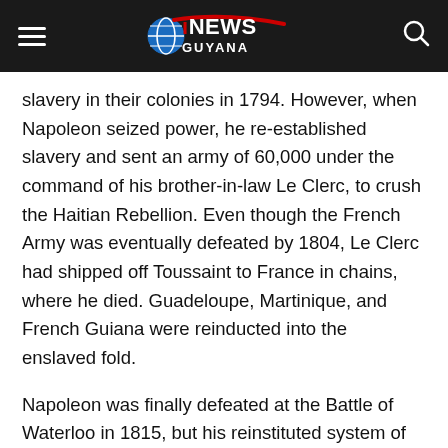iNEWS GUYANA
slavery in their colonies in 1794. However, when Napoleon seized power, he re-established slavery and sent an army of 60,000 under the command of his brother-in-law Le Clerc, to crush the Haitian Rebellion. Even though the French Army was eventually defeated by 1804, Le Clerc had shipped off Toussaint to France in chains, where he died. Guadeloupe, Martinique, and French Guiana were reinducted into the enslaved fold.
Napoleon was finally defeated at the Battle of Waterloo in 1815, but his reinstituted system of slavery wasn't abolished until 1848. The point, then, is he's responsible for relaunching this crime against humanity, against more than 600,000 enslaved Africans in the French colonies.
Over in France, President Macron said it was a time for “enlightened commemoration” though not celebration. He